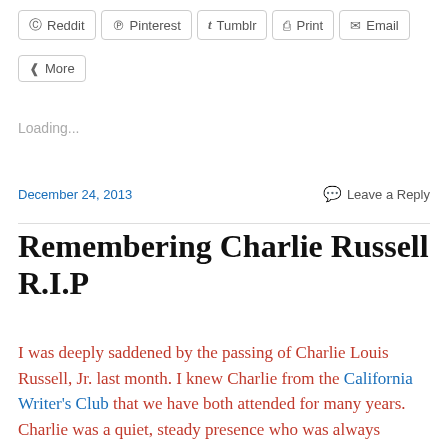Reddit | Pinterest | Tumblr | Print | Email | More
Loading...
December 24, 2013   Leave a Reply
Remembering Charlie Russell R.I.P
I was deeply saddened by the passing of Charlie Louis Russell, Jr. last month. I knew Charlie from the California Writer's Club that we have both attended for many years. Charlie was a quiet, steady presence who was always interested in...